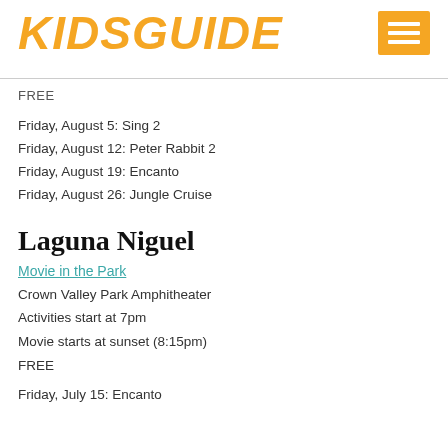KIDSGUIDE
FREE
Friday, August 5: Sing 2
Friday, August 12: Peter Rabbit 2
Friday, August 19: Encanto
Friday, August 26: Jungle Cruise
Laguna Niguel
Movie in the Park
Crown Valley Park Amphitheater
Activities start at 7pm
Movie starts at sunset (8:15pm)
FREE
Friday, July 15: Encanto